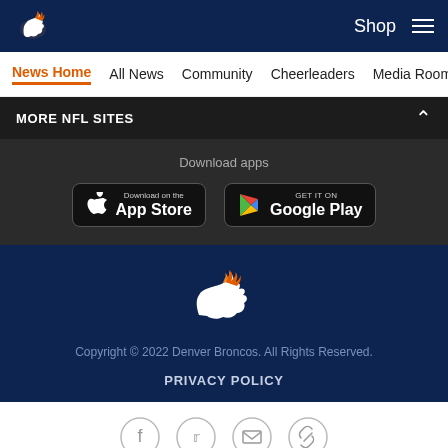Denver Broncos website header with logo, Shop link, and hamburger menu
News Home | All News | Community | Cheerleaders | Media Room
MORE NFL SITES
Download apps
[Figure (screenshot): Download on the App Store button]
[Figure (screenshot): Get it on Google Play button]
[Figure (logo): Denver Broncos logo (horse) in footer]
Copyright © 2022 Denver Broncos. All Rights Reserved.
PRIVACY POLICY
Social icons: Facebook, Twitter, Email, Link